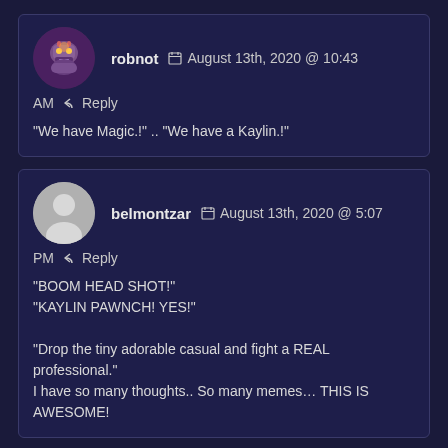robnot  August 13th, 2020 @ 10:43 AM  Reply
"We have Magic.!" .. "We have a Kaylin.!"
belmontzar  August 13th, 2020 @ 5:07 PM  Reply
"BOOM HEAD SHOT!"
"KAYLIN PAWNCH! YES!"

"Drop the tiny adorable casual and fight a REAL professional."
I have so many thoughts.. So many memes… THIS IS AWESOME!